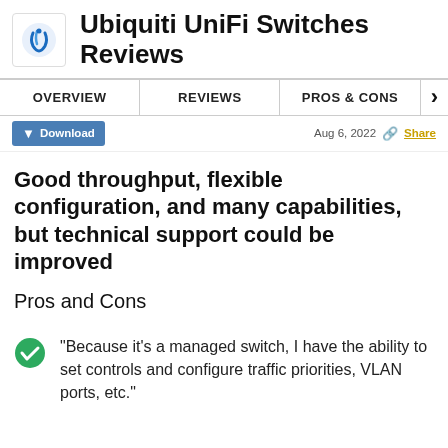Ubiquti UniFi Switches Reviews
OVERVIEW | REVIEWS | PROS & CONS
Download   Aug 6, 2022  Share
Good throughput, flexible configuration, and many capabilities, but technical support could be improved
Pros and Cons
"Because it's a managed switch, I have the ability to set controls and configure traffic priorities, VLAN ports, etc."